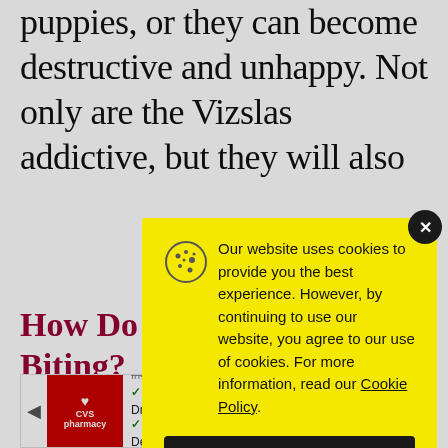puppies, or they can become destructive and unhappy. Not only are the Vizslas addictive, but they will also
How Do [Stop] Biting?
The key
is to pra
[Figure (screenshot): CVS pharmacy advertisement banner at the bottom showing In-store shopping, Drive-through, and Delivery options with a navigation arrow icon]
[Figure (screenshot): Cookie consent modal with yellow background. Text: Our website uses cookies to provide you the best experience. However, by continuing to use our website, you agree to our use of cookies. For more information, read our Cookie Policy. Has an Accept button and a cookie icon.]